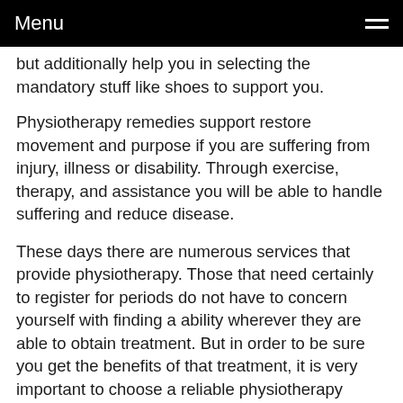Menu
but additionally help you in selecting the mandatory stuff like shoes to support you.
Physiotherapy remedies support restore movement and purpose if you are suffering from injury, illness or disability. Through exercise, therapy, and assistance you will be able to handle suffering and reduce disease.
These days there are numerous services that provide physiotherapy. Those that need certainly to register for periods do not have to concern yourself with finding a ability wherever they are able to obtain treatment. But in order to be sure you get the benefits of that treatment, it is very important to choose a reliable physiotherapy therapy facility.